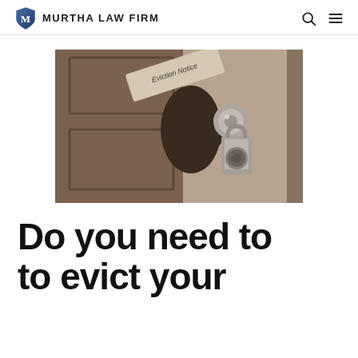MURTHA LAW FIRM
[Figure (photo): Sepia-toned photograph of a hand holding an Eviction Notice document near a door knob with a combination lock padlock on a wooden door.]
Do you need to to evict your